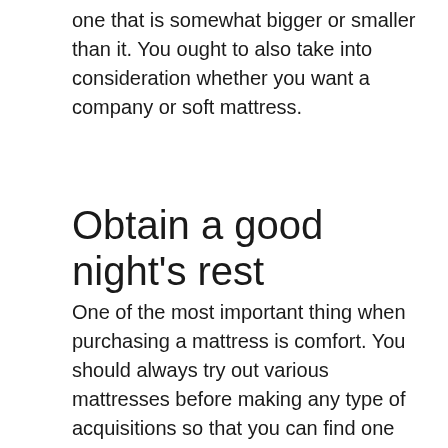one that is somewhat bigger or smaller than it. You ought to also take into consideration whether you want a company or soft mattress.
Obtain a good night’s rest
One of the most important thing when purchasing a mattress is comfort. You should always try out various mattresses before making any type of acquisitions so that you can find one that feels right for your body.
Mattress Kind.
There are a myriad of mattress kinds available that make use of various materials as well as here are the details driving their